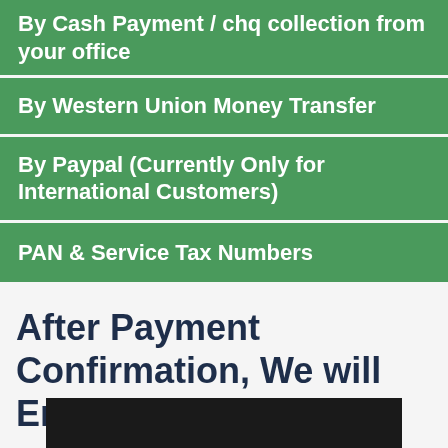By Cash Payment / cheq collection from your office
By Western Union Money Transfer
By Paypal (Currently Only for International Customers)
PAN & Service Tax Numbers
After Payment Confirmation, We will Email the Databases
[Figure (photo): Dark bar/image at bottom of page]